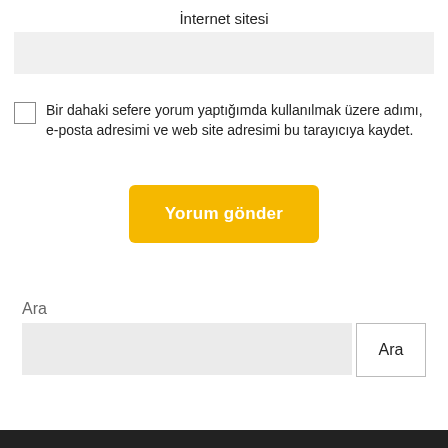İnternet sitesi
[Figure (other): Text input field for İnternet sitesi (website URL), light grey background]
Bir dahaki sefere yorum yaptığımda kullanılmak üzere adımı, e-posta adresimi ve web site adresimi bu tarayıcıya kaydet.
Yorum gönder
Ara
[Figure (other): Search input field and Ara (Search) button]